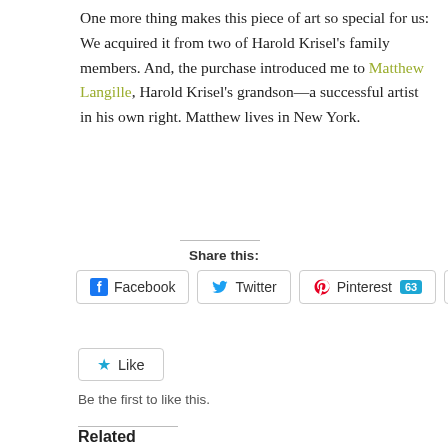One more thing makes this piece of art so special for us: We acquired it from two of Harold Krisel's family members. And, the purchase introduced me to Matthew Langille, Harold Krisel's grandson—a successful artist in his own right. Matthew lives in New York.
Share this:
[Figure (screenshot): Social share buttons: Facebook, Twitter, Pinterest (63), More]
[Figure (screenshot): Like button with star icon]
Be the first to like this.
Related
[Figure (photo): Black and white photo of a modern museum building exterior]
The world's great
[Figure (photo): Black and white image of a Picasso-style cubist face painting]
Online: NYC's Museum of